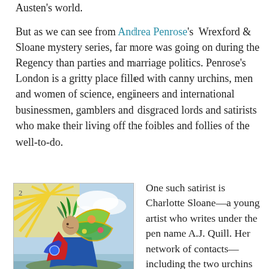Austen's world.
But as we can see from Andrea Penrose's Wrexford & Sloane mystery series, far more was going on during the Regency than parties and marriage politics. Penrose's London is a gritty place filled with canny urchins, men and women of science, engineers and international businessmen, gamblers and disgraced lords and satirists who make their living off the foibles and follies of the well-to-do.
[Figure (illustration): A colorful Regency-era caricature illustration of a figure dressed in a red and blue coat with large butterfly wings, wild plant-like hair, standing in a fantastical scene with sunbeams in the background.]
One such satirist is Charlotte Sloane—a young artist who writes under the pen name A.J. Quill. Her network of contacts—including the two urchins who live with her, known as Raven and Hawk—proves invaluable in untangling a series of murders, the first of which